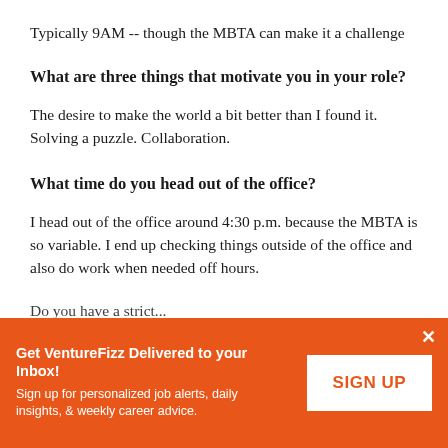Typically 9AM -- though the MBTA can make it a challenge
What are three things that motivate you in your role?
The desire to make the world a bit better than I found it. Solving a puzzle. Collaboration.
What time do you head out of the office?
I head out of the office around 4:30 p.m. because the MBTA is so variable. I end up checking things outside of the office and also do work when needed off hours.
Do you have a strict...
Get VentureFizz Delivered to your Inbox! Sign up for personalized job alerts, daily insights, & weekly career advice.
SIGN UP